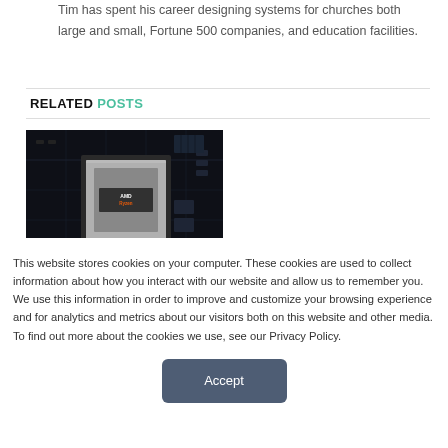Tim has spent his career designing systems for churches both large and small, Fortune 500 companies, and education facilities.
RELATED POSTS
[Figure (photo): Close-up photograph of an AMD Ryzen CPU installed on a dark motherboard with electronic components visible.]
This website stores cookies on your computer. These cookies are used to collect information about how you interact with our website and allow us to remember you. We use this information in order to improve and customize your browsing experience and for analytics and metrics about our visitors both on this website and other media. To find out more about the cookies we use, see our Privacy Policy.
Accept